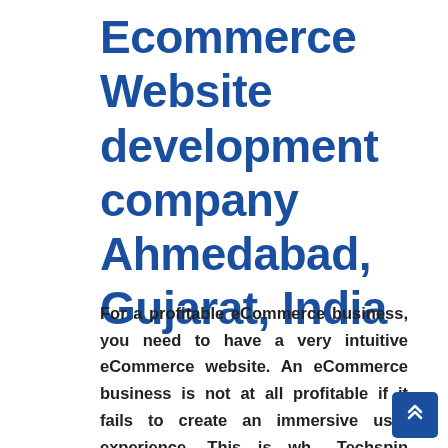Ecommerce  Website development company Ahmedabad, Gujarat, India
For a profitable eCommerce business, you need to have a very intuitive eCommerce website. An eCommerce business is not at all profitable if it fails to create an immersive user experience. This is wh... Techspin Solutions works as one of th...